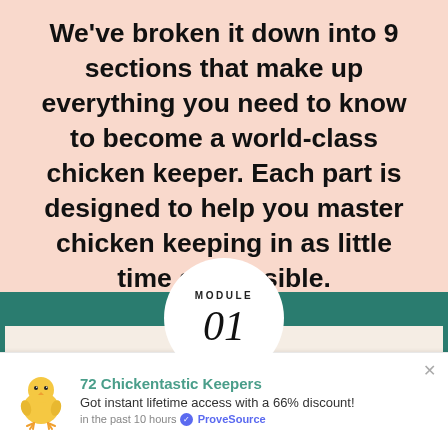We've broken it down into 9 sections that make up everything you need to know to become a world-class chicken keeper. Each part is designed to help you master chicken keeping in as little time as possible.
[Figure (infographic): A circular badge on a teal band showing MODULE 01 in large italic serif font]
72 Chickentastic Keepers
Got instant lifetime access with a 66% discount!
in the past 10 hours ✓ ProveSource